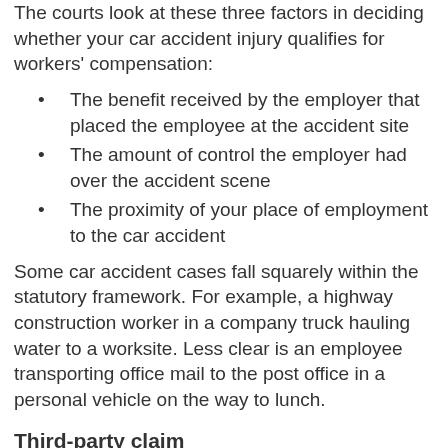The courts look at these three factors in deciding whether your car accident injury qualifies for workers' compensation:
The benefit received by the employer that placed the employee at the accident site
The amount of control the employer had over the accident scene
The proximity of your place of employment to the car accident
Some car accident cases fall squarely within the statutory framework. For example, a highway construction worker in a company truck hauling water to a worksite. Less clear is an employee transporting office mail to the post office in a personal vehicle on the way to lunch.
Third-party claim